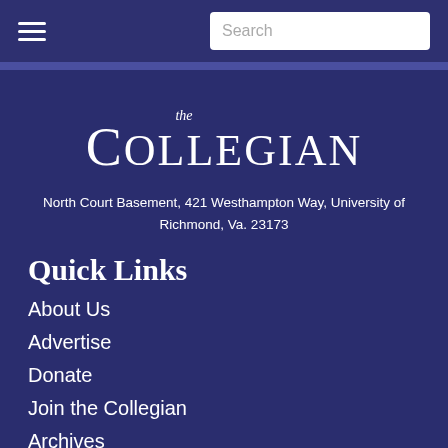Search
[Figure (logo): The Collegian newspaper logo with 'the' in italic script above 'COLLEGIAN' in large serif capitals]
North Court Basement, 421 Westhampton Way, University of Richmond, Va. 23173
Quick Links
About Us
Advertise
Donate
Join the Collegian
Archives
News